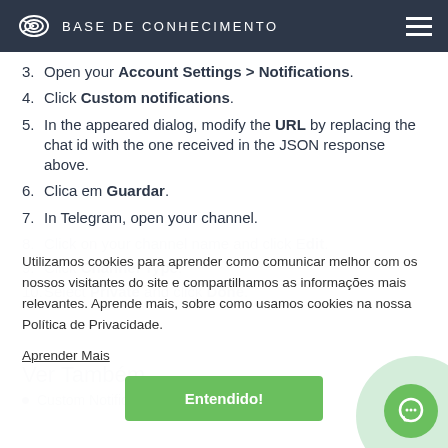BASE DE CONHECIMENTO
3. Open your Account Settings > Notifications.
4. Click Custom notifications.
5. In the appeared dialog, modify the URL by replacing the chat id with the one received in the JSON response above.
6. Clica em Guardar.
7. In Telegram, open your channel.
8. Click on your channel name and click Edit.
9. Click Channel Type.
10. Select Private and click Done.
Utilizamos cookies para aprender como comunicar melhor com os nossos visitantes do site e compartilhamos as informações mais relevantes. Aprende mais, sobre como usamos cookies na nossa Política de Privacidade.
Aprender Mais
Entendido!
Ver Também
Custom Notifications